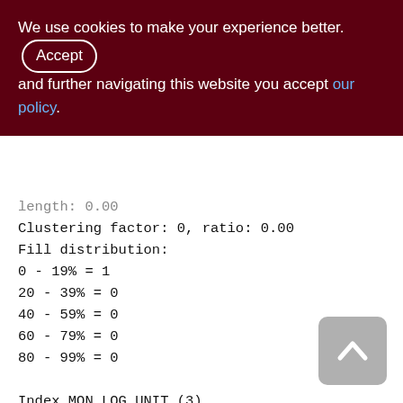We use cookies to make your experience better. By accepting and further navigating this website you accept our policy.
length: 0.00
Clustering factor: 0, ratio: 0.00
Fill distribution:
0 - 19% = 1
20 - 39% = 0
40 - 59% = 0
60 - 79% = 0
80 - 99% = 0
Index MON_LOG_UNIT (3)
Root page: 362, depth: 1, leaf buckets: 1, nodes: 0
Average node length: 0.00, total dup: 0,